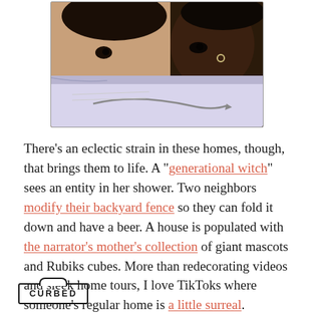[Figure (photo): Two people (an adult and a child) peering over the top of an open book that appears to have an Amazon logo/swoosh on it.]
There’s an eclectic strain in these homes, though, that brings them to life. A “generational witch” sees an entity in her shower. Two neighbors modify their backyard fence so they can fold it down and have a beer. A house is populated with the narrator’s mother’s collection of giant mascots and Rubiks cubes. More than redecorating videos and sleek home tours, I love TikToks where someone’s regular home is a little surreal.
Like a lot of the world, I’ve been on the inside for the
CURBED